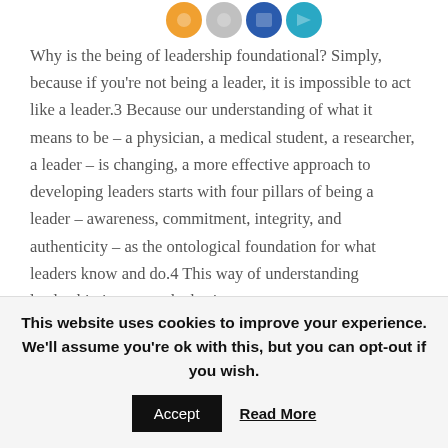[Figure (illustration): Partial view of social media sharing icons (colored circles with logos) at the top of the page, cropped]
Why is the being of leadership foundational? Simply, because if you're not being a leader, it is impossible to act like a leader.3 Because our understanding of what it means to be – a physician, a medical student, a researcher, a leader – is changing, a more effective approach to developing leaders starts with four pillars of being a leader – awareness, commitment, integrity, and authenticity – as the ontological foundation for what leaders know and do.4 This way of understanding leadership is core to the basic
This website uses cookies to improve your experience. We'll assume you're ok with this, but you can opt-out if you wish.
Accept   Read More